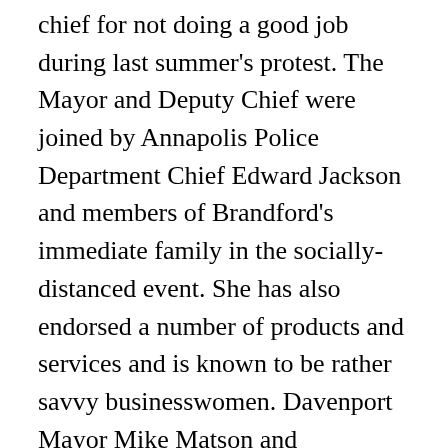chief for not doing a good job during last summer's protest. The Mayor and Deputy Chief were joined by Annapolis Police Department Chief Edward Jackson and members of Brandford's immediate family in the socially-distanced event. She has also endorsed a number of products and services and is known to be rather savvy businesswomen. Davenport Mayor Mike Matson and Davenport Police Chief ... The Quad-City Times reports that the incident began Thursday morning with a report of an armed robbery. He started young and ever since he was a child, he had his eyes on making it big as a professional player. He is currently married to her and the couple has a daughter. The editor-in-chief of her